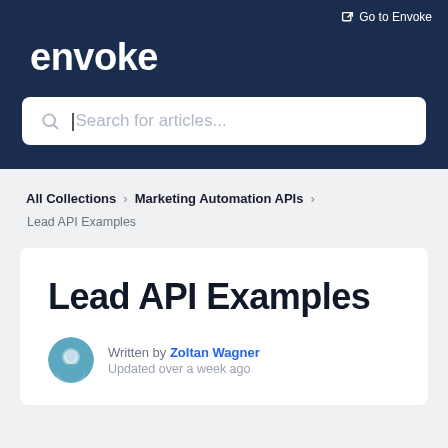Go to Envoke
envoke
Search for articles...
All Collections > Marketing Automation APIs > Lead API Examples
Lead API Examples
Written by Zoltan Wagner
Updated over a week ago